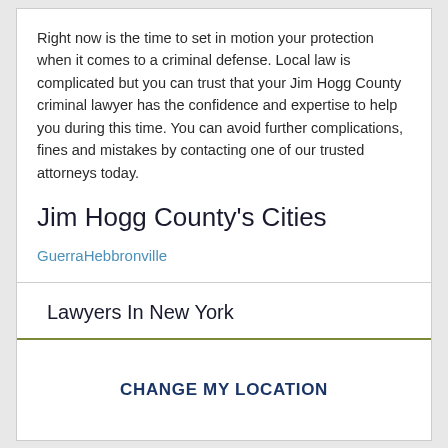Right now is the time to set in motion your protection when it comes to a criminal defense. Local law is complicated but you can trust that your Jim Hogg County criminal lawyer has the confidence and expertise to help you during this time. You can avoid further complications, fines and mistakes by contacting one of our trusted attorneys today.
Jim Hogg County's Cities
Guerra
Hebbronville
Lawyers In New York
CHANGE MY LOCATION